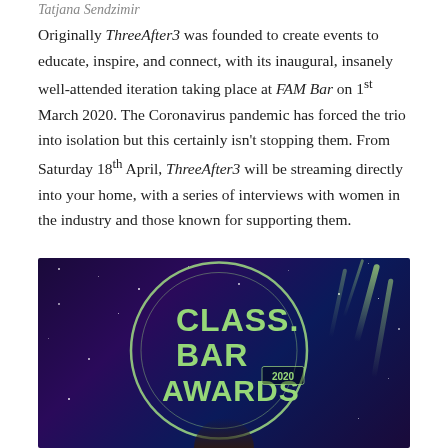Tatjana Sendzimir
Originally ThreeAfter3 was founded to create events to educate, inspire, and connect, with its inaugural, insanely well-attended iteration taking place at FAM Bar on 1st March 2020. The Coronavirus pandemic has forced the trio into isolation but this certainly isn't stopping them. From Saturday 18th April, ThreeAfter3 will be streaming directly into your home, with a series of interviews with women in the industry and those known for supporting them.
[Figure (photo): Photo of Class Bar Awards 2020 backdrop/logo sign with a circular neon-style logo reading CLASS. BAR AWARDS 2020 on a dark purple/blue starry background with gold streaks]